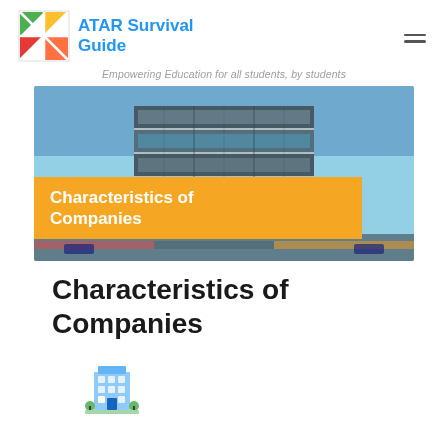ATAR Survival Guide
Empowering Education for all students, by students
[Figure (photo): Modern glass office building at dusk with a yellow banner overlay reading 'Characteristics of Companies']
Characteristics of Companies
[Figure (illustration): Building/company emoji icon]